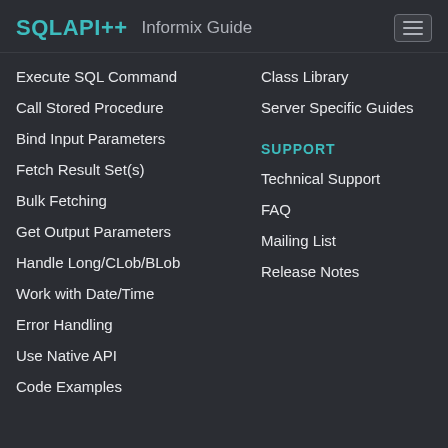SQLAPI++ Informix Guide
Execute SQL Command
Call Stored Procedure
Bind Input Parameters
Fetch Result Set(s)
Bulk Fetching
Get Output Parameters
Handle Long/CLob/BLob
Work with Date/Time
Error Handling
Use Native API
Code Examples
Class Library
Server Specific Guides
SUPPORT
Technical Support
FAQ
Mailing List
Release Notes